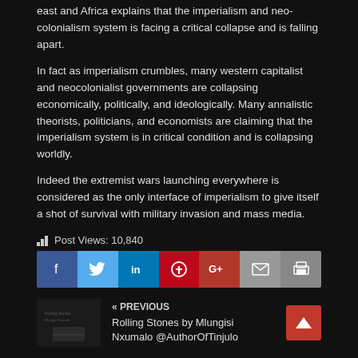east and Africa explains that the imperialism and neo-colonialism system is facing a critical collapse and is falling apart.
In fact as imperialism crumbles, many western capitalist and neocolonialist governments are collapsing economically, politically, and ideologically. Many annalistic theorists, politicians, and economists are claiming that the imperialism system is in critical condition and is collapsing worldly.
Indeed the extremist wars launching everywhere is considered as the only interface of imperialism to give itself a shot of survival with military invasion and mass media.
Post Views: 10,840
[Figure (other): Social sharing buttons: Facebook, Twitter, LinkedIn, Pinterest, Google+, Email, Print]
« PREVIOUS
Rolling Stones by Mlungisi Nxumalo @AuthorOfTinjulo